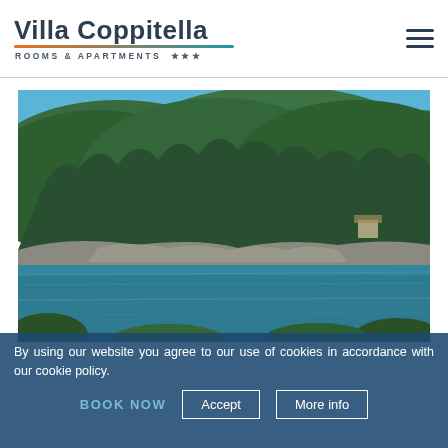Villa Coppitella ROOMS & APARTMENTS
[Figure (photo): Scenic landscape photo showing a forested hillside with dense green trees meeting a calm blue-green bay or inlet, with rocky shoreline and some vegetation in the foreground.]
By using our website you agree to our use of cookies in accordance with our cookie policy.
BOOK NOW   Accept   More info